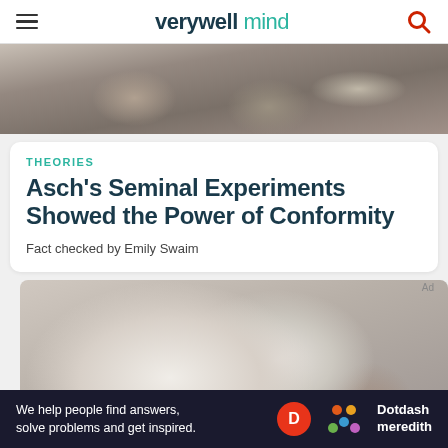verywell mind
[Figure (photo): Overhead view of students sitting on floor working on papers/notebooks]
THEORIES
Asch's Seminal Experiments Showed the Power of Conformity
Fact checked by Emily Swaim
[Figure (photo): Person reading an open textbook or binder with pages fanned out, viewed from behind]
We help people find answers, solve problems and get inspired. Dotdash meredith